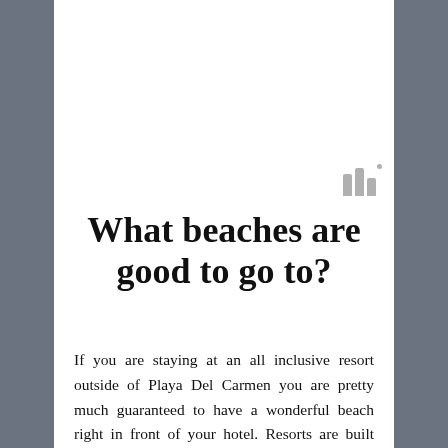[Figure (logo): Small gray logo mark with three vertical bars of varying height and a small superscript dot]
What beaches are good to go to?
If you are staying at an all inclusive resort outside of Playa Del Carmen you are pretty much guaranteed to have a wonderful beach right in front of your hotel. Resorts are built around the nice beaches and they take good care of them. In Playa Del Carmen the beaches are nice but everyone has a preference,